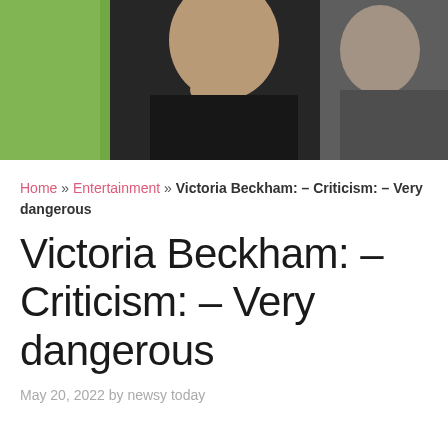[Figure (photo): Photo of a woman in dark clothing with hand near chin, with people in green and grey clothing on either side, cropped at top of page]
Home » Entertainment » Victoria Beckham: – Criticism: – Very dangerous
Victoria Beckham: – Criticism: – Very dangerous
May 20, 2022 by newsy today